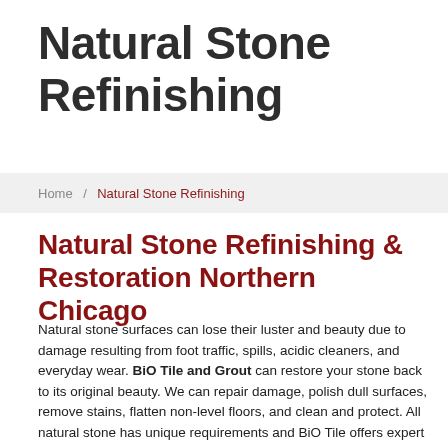Natural Stone Refinishing
Home / Natural Stone Refinishing
Natural Stone Refinishing & Restoration Northern Chicago
Natural stone surfaces can lose their luster and beauty due to damage resulting from foot traffic, spills, acidic cleaners, and everyday wear. BiO Tile and Grout can restore your stone back to its original beauty. We can repair damage, polish dull surfaces, remove stains, flatten non-level floors, and clean and protect. All natural stone has unique requirements and BiO Tile offers expert service in each. We offer unique services on Stone Replacement Chicago IL . Contact us today for all your natural stone refinishing, restoration and replacement